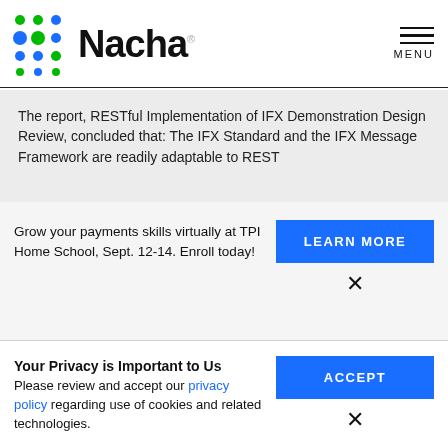[Figure (logo): Nacha logo with colorful dot pattern and wordmark]
The report, RESTful Implementation of IFX Demonstration Design Review, concluded that: The IFX Standard and the IFX Message Framework are readily adaptable to REST
Grow your payments skills virtually at TPI Home School, Sept. 12-14. Enroll today!
Your Privacy is Important to Us
Please review and accept our privacy policy regarding use of cookies and related technologies.